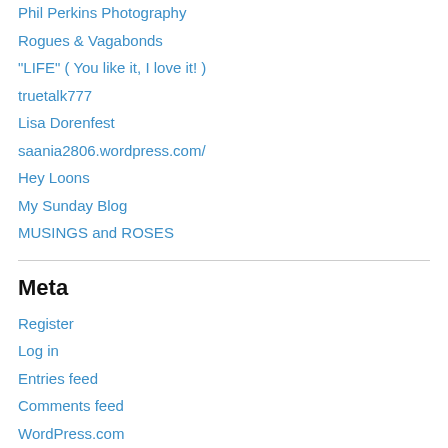Phil Perkins Photography
Rogues & Vagabonds
"LIFE" ( You like it, I love it! )
truetalk777
Lisa Dorenfest
saania2806.wordpress.com/
Hey Loons
My Sunday Blog
MUSINGS and ROSES
Meta
Register
Log in
Entries feed
Comments feed
WordPress.com